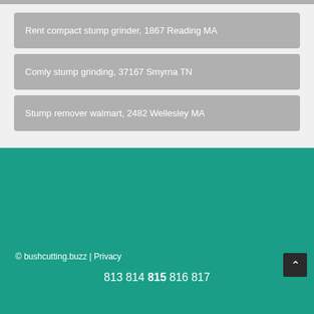Rent compact stump grinder, 1867 Reading MA
Comly stump grinding, 37167 Smyrna TN
Stump remover walmart, 2482 Wellesley MA
© bushcutting.buzz | Privacy
813 814 815 816 817